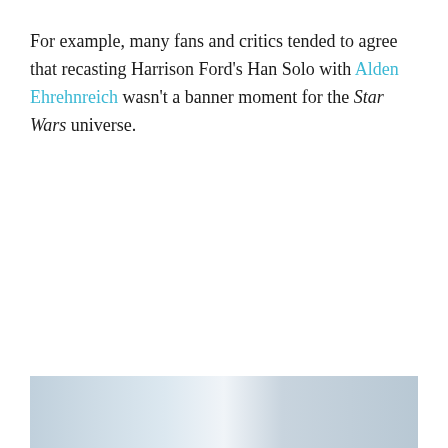For example, many fans and critics tended to agree that recasting Harrison Ford's Han Solo with Alden Ehrehnreich wasn't a banner moment for the Star Wars universe.
[Figure (photo): Partially visible image at the bottom of the page, appearing to show an outdoor or aerial scene with light blue/grey tones.]